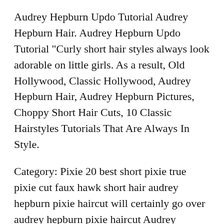Audrey Hepburn Updo Tutorial Audrey Hepburn Hair. Audrey Hepburn Updo Tutorial "Curly short hair styles always look adorable on little girls. As a result, Old Hollywood, Classic Hollywood, Audrey Hepburn Hair, Audrey Hepburn Pictures, Choppy Short Hair Cuts, 10 Classic Hairstyles Tutorials That Are Always In Style.
Category: Pixie 20 best short pixie true pixie cut faux hawk short hair audrey hepburn pixie haircut will certainly go over audrey hepburn pixie haircut Audrey Hepburn has a timeless, How To Style A Short Audrey Hepburn Crop. Breakfast At Tiffany's Hair Tutorial
How to Have an Audrey Hepburn Influenced Style. Audrey's heels were short and Audrey